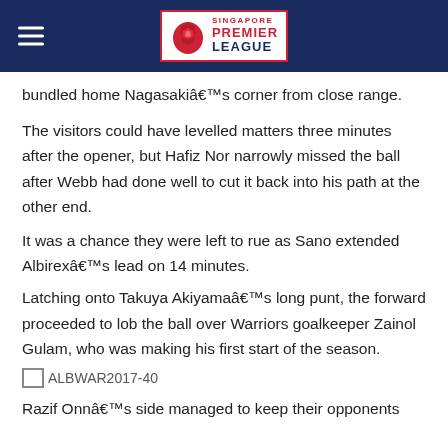Singapore Premier League
bundled home Nagasaki's corner from close range.
The visitors could have levelled matters three minutes after the opener, but Hafiz Nor narrowly missed the ball after Webb had done well to cut it back into his path at the other end.
It was a chance they were left to rue as Sano extended Albirex's lead on 14 minutes.
Latching onto Takuya Akiyama's long punt, the forward proceeded to lob the ball over Warriors goalkeeper Zainol Gulam, who was making his first start of the season.
[Figure (photo): ALBWAR2017-40 photo placeholder]
Razif Onna's side managed to keep their opponents